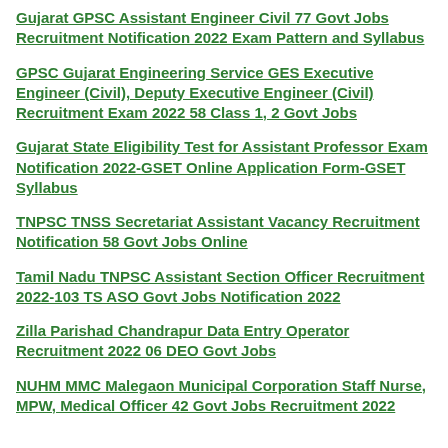Gujarat GPSC Assistant Engineer Civil 77 Govt Jobs Recruitment Notification 2022 Exam Pattern and Syllabus
GPSC Gujarat Engineering Service GES Executive Engineer (Civil), Deputy Executive Engineer (Civil) Recruitment Exam 2022 58 Class 1, 2 Govt Jobs
Gujarat State Eligibility Test for Assistant Professor Exam Notification 2022-GSET Online Application Form-GSET Syllabus
TNPSC TNSS Secretariat Assistant Vacancy Recruitment Notification 58 Govt Jobs Online
Tamil Nadu TNPSC Assistant Section Officer Recruitment 2022-103 TS ASO Govt Jobs Notification 2022
Zilla Parishad Chandrapur Data Entry Operator Recruitment 2022 06 DEO Govt Jobs
NUHM MMC Malegaon Municipal Corporation Staff Nurse, MPW, Medical Officer 42 Govt Jobs Recruitment 2022